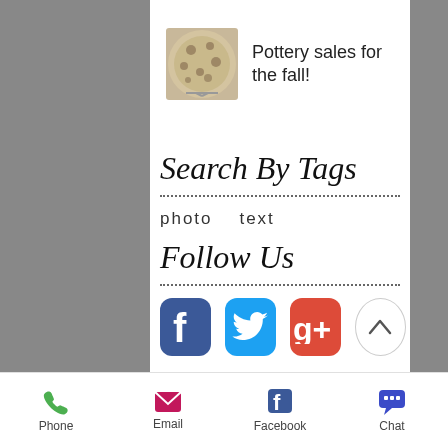[Figure (photo): Small photo of a pottery plate on a stand]
Pottery sales for the fall!
Search By Tags
photo   text
Follow Us
[Figure (infographic): Social media icons: Facebook (blue), Twitter (light blue), Google+ (red), and an up-arrow circular button]
Phone   Email   Facebook   Chat